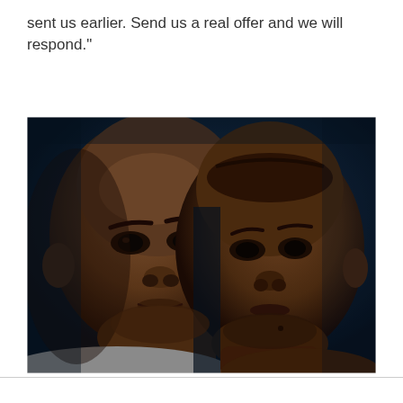sent us earlier. Send us a real offer and we will respond."
[Figure (photo): Close-up photo of two male boxers facing each other intensely against a dark blue arena background with bright light visible between them. The boxer on the left has a shaved head and is wearing a grey top; the boxer on the right is shirtless with a fade haircut.]